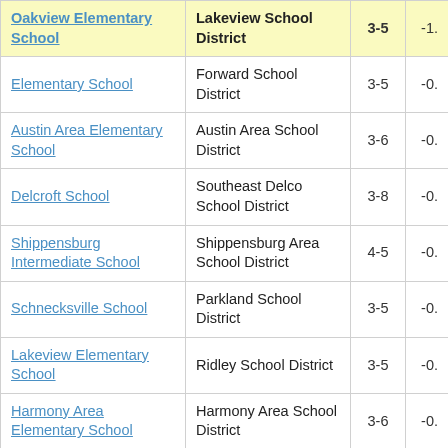| School | District | Grades | Score |
| --- | --- | --- | --- |
| Oakview Elementary School | Lakeview School District | 3-5 | -1. |
| Elementary School | Forward School District | 3-5 | -0. |
| Austin Area Elementary School | Austin Area School District | 3-6 | -0. |
| Delcroft School | Southeast Delco School District | 3-8 | -0. |
| Shippensburg Intermediate School | Shippensburg Area School District | 4-5 | -0. |
| Schnecksville School | Parkland School District | 3-5 | -0. |
| Lakeview Elementary School | Ridley School District | 3-5 | -0. |
| Harmony Area Elementary School | Harmony Area School District | 3-6 | -0. |
|  | Shikollamy |  |  |